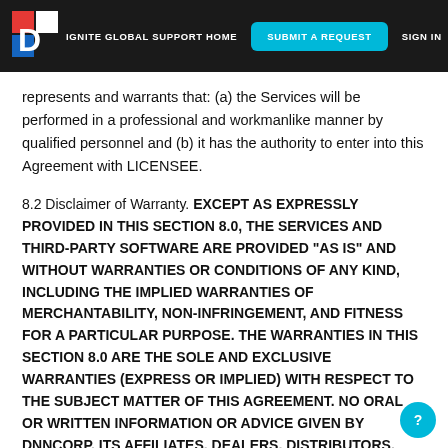IGNITE GLOBAL SUPPORT HOME | SUBMIT A REQUEST | SIGN IN
represents and warrants that: (a) the Services will be performed in a professional and workmanlike manner by qualified personnel and (b) it has the authority to enter into this Agreement with LICENSEE.
8.2 Disclaimer of Warranty. EXCEPT AS EXPRESSLY PROVIDED IN THIS SECTION 8.0, THE SERVICES AND THIRD-PARTY SOFTWARE ARE PROVIDED “AS IS” AND WITHOUT WARRANTIES OR CONDITIONS OF ANY KIND, INCLUDING THE IMPLIED WARRANTIES OF MERCHANTABILITY, NON-INFRINGEMENT, AND FITNESS FOR A PARTICULAR PURPOSE. THE WARRANTIES IN THIS SECTION 8.0 ARE THE SOLE AND EXCLUSIVE WARRANTIES (EXPRESS OR IMPLIED) WITH RESPECT TO THE SUBJECT MATTER OF THIS AGREEMENT. NO ORAL OR WRITTEN INFORMATION OR ADVICE GIVEN BY DNNCORP, ITS AFFILIATES, DEALERS, DISTRIBUTORS, AGENTS OR